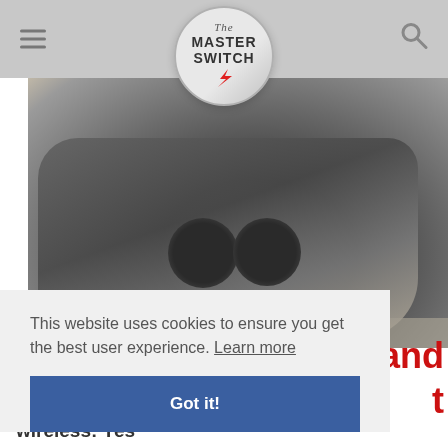[Figure (screenshot): The Master Switch website header with logo, hamburger menu, and search icon on a grey navigation bar]
[Figure (photo): Grey athletic running shoes photographed on pavement with two round black wireless speaker/headphone pucks placed on top of them]
This website uses cookies to ensure you get the best user experience. Learn more
Got it!
and
t
wireless: Yes